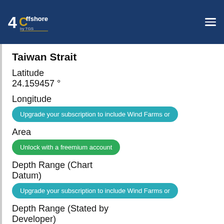4C Offshore by TGS
Taiwan Strait
Latitude
24.159457°
Longitude
Upgrade your subscription to include Wind Farms or
Area
Unlock with a freemium account
Depth Range (Chart Datum)
Upgrade your subscription to include Wind Farms or
Depth Range (Stated by Developer)